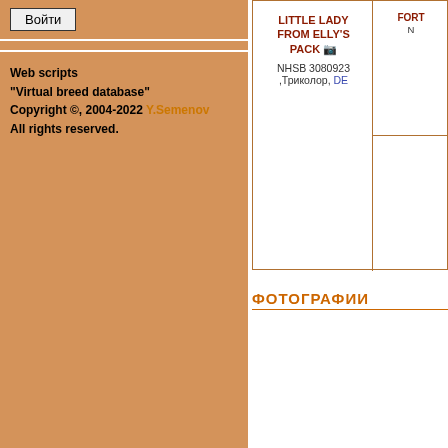Войти
Web scripts
"Virtual breed database"
Copyright ©, 2004-2022 Y.Semenov
All rights reserved.
| LITTLE LADY FROM ELLY'S PACK 📷 NHSB 3080923 ,Триколор, DE | FORT... | N... |
ФОТОГРАФИИ